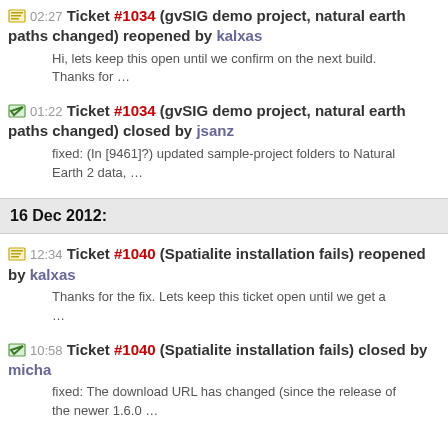02:27 Ticket #1034 (gvSIG demo project, natural earth paths changed) reopened by kalxas
Hi, lets keep this open until we confirm on the next build. Thanks for …
01:22 Ticket #1034 (gvSIG demo project, natural earth paths changed) closed by jsanz
fixed: (In [9461]?) updated sample-project folders to Natural Earth 2 data, …
16 Dec 2012:
12:34 Ticket #1040 (Spatialite installation fails) reopened by kalxas
Thanks for the fix. Lets keep this ticket open until we get a …
10:58 Ticket #1040 (Spatialite installation fails) closed by micha
fixed: The download URL has changed (since the release of the newer 1.6.0 …